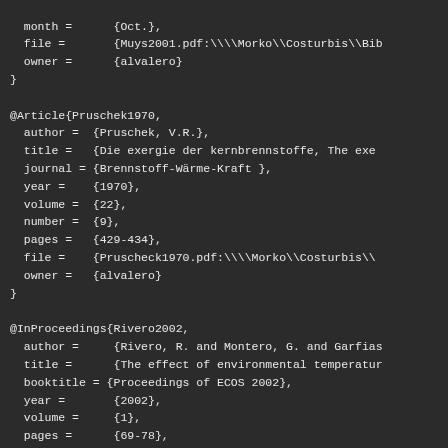month =      {Oct.},
  file =       {Muys2001.pdf:\\\\Morko\\Costurbis\\Bib
  owner =      {alvalero}
}

@Article{Pruschek1970,
  author =  {Pruschek, V.R.},
  title =   {Die exergie der kernbrennstoffe, The exe
  journal = {Brennstoff-Wärme-Kraft },
  year =    {1970},
  volume =  {22},
  number =  {9},
  pages =   {429-434},
  file =    {Pruscheck1970.pdf:\\\\Morko\\Costurbis\\
  owner =   {alvalero}
}

@InProceedings{Rivero2002,
  author =     {Rivero, R. and Montero, G. and Garfias
  title =      {The effect of environmental temperatur
  booktitle = {Proceedings of ECOS 2002},
  year =       {2002},
  volume =     {1},
  pages =      {69-78},
  address =    {Berlin},
  month =      {3-5 July},
  owner =      {alvalero}
}

@InProceedings{Rivero2004a,
  author =     {Rivero, R. and Garfias, M.},